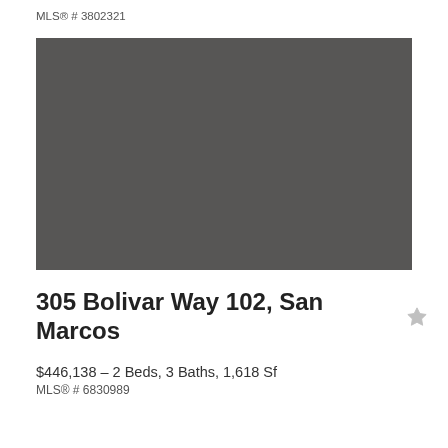MLS® # 3802321
[Figure (photo): Property photo placeholder — solid dark gray rectangle]
305 Bolivar Way 102, San Marcos
$446,138 – 2 Beds, 3 Baths, 1,618 Sf
MLS® # 6830989